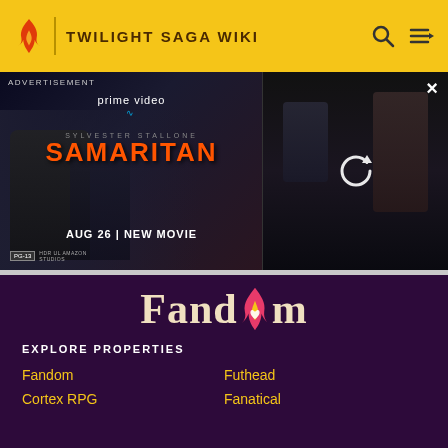TWILIGHT SAGA WIKI
[Figure (screenshot): Advertisement banner for Samaritan (Amazon Prime Video) featuring Sylvester Stallone, with movie title, date AUG 26 | NEW MOVIE, and a thumbnail still from the movie on the right]
[Figure (logo): Fandom logo in cream/white text with flame icon on dark purple background]
EXPLORE PROPERTIES
Fandom
Futhead
Cortex RPG
Fanatical